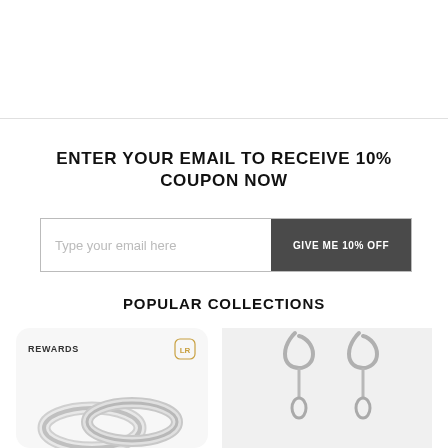ENTER YOUR EMAIL TO RECEIVE 10% COUPON NOW
Type your email here
GIVE ME 10% OFF
POPULAR COLLECTIONS
[Figure (photo): Silver ring jewelry on gray rounded card with REWARDS label and icon]
[Figure (photo): Silver earrings jewelry on gray card]